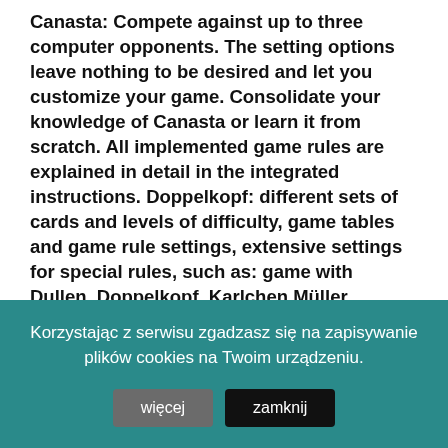Canasta: Compete against up to three computer opponents. The setting options leave nothing to be desired and let you customize your game. Consolidate your knowledge of Canasta or learn it from scratch. All implemented game rules are explained in detail in the integrated instructions. Doppelkopf: different sets of cards and levels of difficulty, game tables and game rule settings, extensive settings for special rules, such as: game with Dullen, Doppelkopf, Karlchen Müller, catching the fox, announcing Kontra and Re, and much more.
- Collection of popular card games: Skat, Doppelkopf, Rummy, Poker, Canasta
- 5 full versions on one CD
- Hours of challenging entertainment
- Easy handling and detailed instructions
Korzystając z serwisu zgadzasz się na zapisywanie plików cookies na Twoim urządzeniu.
więcej   zamknij